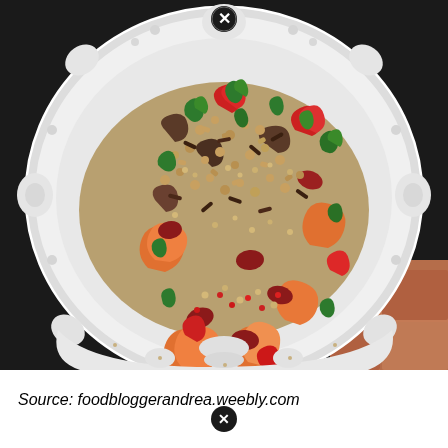[Figure (photo): A white embossed decorative plate filled with a colorful grain salad containing quinoa, wild rice, chunks of orange sweet potato, red kidney beans, red bell pepper pieces, and fresh green herbs, photographed from above on a terracotta tile surface with dark background.]
Source: foodbloggerandrea.weebly.com